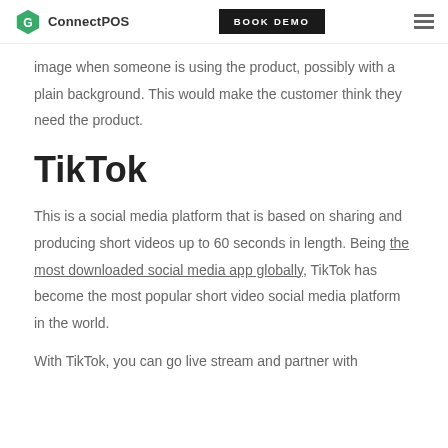ConnectPOS | BOOK DEMO
image when someone is using the product, possibly with a plain background. This would make the customer think they need the product.
TikTok
This is a social media platform that is based on sharing and producing short videos up to 60 seconds in length. Being the most downloaded social media app globally, TikTok has become the most popular short video social media platform in the world.
With TikTok, you can go live stream and partner with